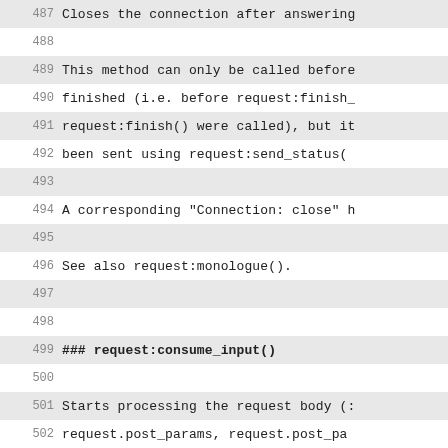487 Closes the connection after answering
488
489 This method can only be called before
490 finished (i.e. before request:finish_
491 request:finish() were called), but it
492 been sent using request:send_status(
493
494 A corresponding "Connection: close" h
495
496 See also request:monologue().
497
498
499 ### request:consume_input()
500
501 Starts processing the request body (:
502 request.post_params, request.post_pa
503 and request.post_metadata_list and/o
504 have been previously registered with
505 request:stream_post_params(...), or t
506 body stream handler that was set with
507
508 This method gets invoked automaticall
509 (request.post_params, etc.) are acces
510
511
512 ### request.cookies
513
514 A table with all cookies sent by the